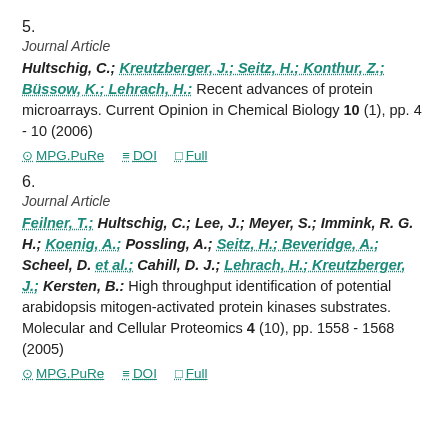5.
Journal Article
Hultschig, C.; Kreutzberger, J.; Seitz, H.; Konthur, Z.; Büssow, K.; Lehrach, H.: Recent advances of protein microarrays. Current Opinion in Chemical Biology 10 (1), pp. 4 - 10 (2006)
MPG.PuRe   DOI   Full
6.
Journal Article
Feilner, T.; Hultschig, C.; Lee, J.; Meyer, S.; Immink, R. G. H.; Koenig, A.; Possling, A.; Seitz, H.; Beveridge, A.; Scheel, D. et al.; Cahill, D. J.; Lehrach, H.; Kreutzberger, J.; Kersten, B.: High throughput identification of potential arabidopsis mitogen-activated protein kinases substrates. Molecular and Cellular Proteomics 4 (10), pp. 1558 - 1568 (2005)
MPG.PuRe   DOI   Full